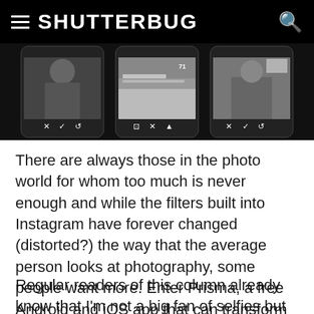SHUTTERBUG
[Figure (screenshot): Three smartphone screens showing photo editing app interfaces in black and white]
There are always those in the photo world for whom too much is never enough and while the filters built into Instagram have forever changed (distorted?) the way that the average person looks at photography, some people want more. Enter Prisma, a free Android and iOS app that can transform your photos using the styles of famous artists such as Van Gogh, Picasso, or Levitan.
Regular readers of this column already know that I'm not a big fan of selfies but I'm seemingly in the